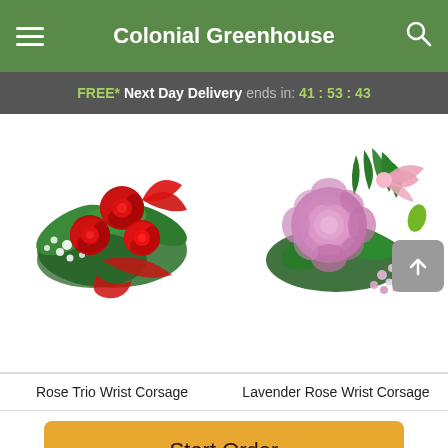Colonial Greenhouse
FREE* Next Day Delivery ends in: 41:53:43
[Figure (photo): Rose Trio Wrist Corsage - three red roses with white baby's breath and red ribbon on green foliage]
[Figure (photo): Lavender Rose Wrist Corsage - single pink/lavender rose with pink satin ribbon and small flowers on green foliage]
Rose Trio Wrist Corsage
Lavender Rose Wrist Corsage
Start Order